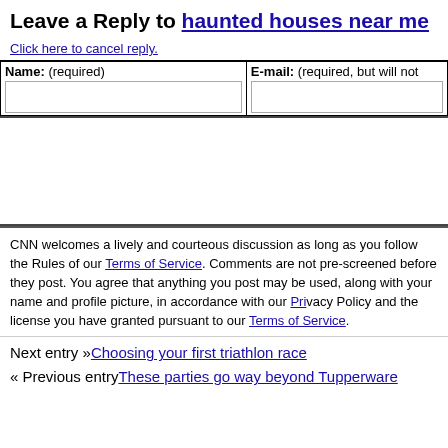Leave a Reply to haunted houses near me
Click here to cancel reply.
| Name: (required) | E-mail: (required, but will not be published) |
| --- | --- |
| [input field] | [input field] |
[Comment text area]
CNN welcomes a lively and courteous discussion as long as you follow the Rules of our Terms of Service. Comments are not pre-screened before they post. You agree that anything you post may be used, along with your name and profile picture, in accordance with our Privacy Policy and the license you have granted pursuant to our Terms of Service.
Next entry »Choosing your first triathlon race
« Previous entryThese parties go way beyond Tupperware